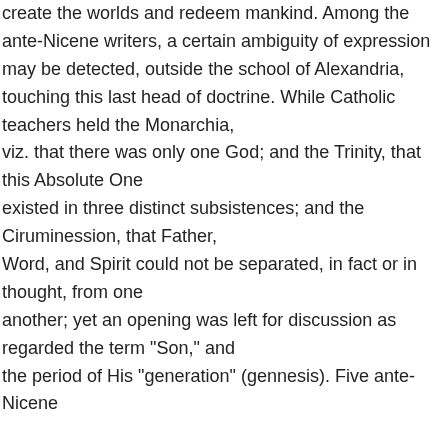create the worlds and redeem mankind. Among the ante-Nicene writers, a certain ambiguity of expression may be detected, outside the school of Alexandria, touching this last head of doctrine. While Catholic teachers held the Monarchia, viz. that there was only one God; and the Trinity, that this Absolute One existed in three distinct subsistences; and the Ciruminession, that Father, Word, and Spirit could not be separated, in fact or in thought, from one another; yet an opening was left for discussion as regarded the term "Son," and the period of His "generation" (gennesis). Five ante-Nicene